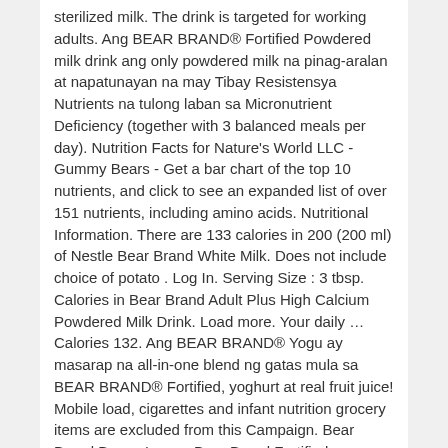sterilized milk. The drink is targeted for working adults. Ang BEAR BRAND® Fortified Powdered milk drink ang only powdered milk na pinag-aralan at napatunayan na may Tibay Resistensya Nutrients na tulong laban sa Micronutrient Deficiency (together with 3 balanced meals per day). Nutrition Facts for Nature's World LLC - Gummy Bears - Get a bar chart of the top 10 nutrients, and click to see an expanded list of over 151 nutrients, including amino acids. Nutritional Information. There are 133 calories in 200 (200 ml) of Nestle Bear Brand White Milk. Does not include choice of potato . Log In. Serving Size : 3 tbsp. Calories in Bear Brand Adult Plus High Calcium Powdered Milk Drink. Load more. Your daily … Calories 132. Ang BEAR BRAND® Yogu ay masarap na all-in-one blend ng gatas mula sa BEAR BRAND® Fortified, yoghurt at real fruit juice! Mobile load, cigarettes and infant nutrition grocery items are excluded from this Campaign. Bear Brand Busog Lusog. Bear Brand Fortified Powdered Milk Drink, Bear Brand Adult Plus, Bear Brand Sterilized, and Bear Brand Fresh Milk are sought after by many Filipinos for their quality ingredients and health benefits. Daily Goals. Bear Brand Adult Plus High Calcium Powdered Milk Drink Nutritional Info. About.